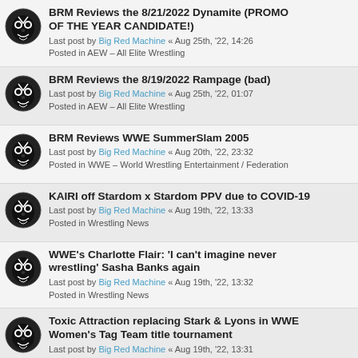BRM Reviews the 8/21/2022 Dynamite (PROMO OF THE YEAR CANDIDATE!) — Last post by Big Red Machine « Aug 25th, '22, 14:26 — Posted in AEW - All Elite Wrestling
BRM Reviews the 8/19/2022 Rampage (bad) — Last post by Big Red Machine « Aug 25th, '22, 01:07 — Posted in AEW - All Elite Wrestling
BRM Reviews WWE SummerSlam 2005 — Last post by Big Red Machine « Aug 20th, '22, 23:32 — Posted in WWE - World Wrestling Entertainment / Federation
KAIRI off Stardom x Stardom PPV due to COVID-19 — Last post by Big Red Machine « Aug 19th, '22, 13:33 — Posted in Wrestling News
WWE's Charlotte Flair: 'I can't imagine never wrestling' Sasha Banks again — Last post by Big Red Machine « Aug 19th, '22, 13:32 — Posted in Wrestling News
Toxic Attraction replacing Stark & Lyons in WWE Women's Tag Team title tournament — Last post by Big Red Machine « Aug 19th, '22, 13:31 — Posted in Wrestling News
Tony Schiavone on AEW backstage changes: 'We're going to make it a better place to work' — Last post by Big Red Machine « Aug 18th, '22, 23:19 — Posted in Wrestling News